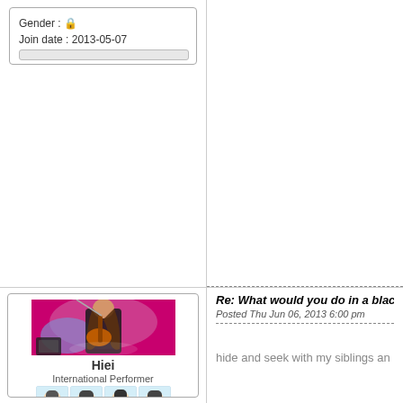Gender : 🔒
Join date : 2013-05-07
[Figure (photo): A young woman playing electric guitar on stage with a pink/purple background, performing live. Below the photo is the username 'Hiei' with rank 'International Performer' and four anime-style face avatars.]
Hiei
International Performer
Re: What would you do in a blackou
Posted Thu Jun 06, 2013 6:00 pm
hide and seek with my siblings an